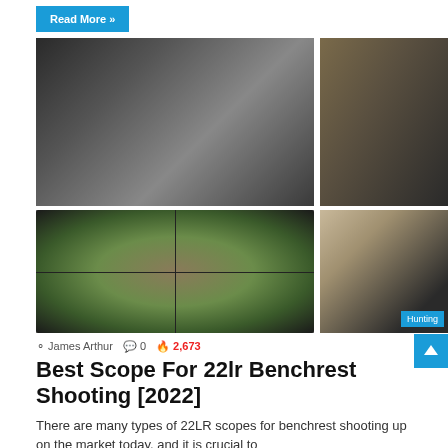Read More »
[Figure (photo): Grid of four shooting scope / rifle photos]
James Arthur  0  2,673
Best Scope For 22lr Benchrest Shooting [2022]
There are many types of 22LR scopes for benchrest shooting up on the market today, and it is crucial to